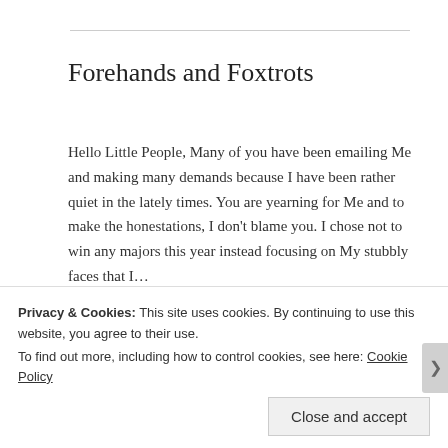Forehands and Foxtrots
Hello Little People, Many of you have been emailing Me and making many demands because I have been rather quiet in the lately times. You are yearning for Me and to make the honestations, I don't blame you. I chose not to win any majors this year instead focusing on My stubbly faces that I…
November 30, 2015 in Personal.
Privacy & Cookies: This site uses cookies. By continuing to use this website, you agree to their use.
To find out more, including how to control cookies, see here: Cookie Policy
Close and accept